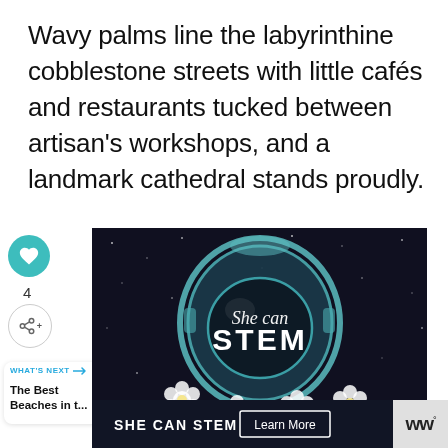Wavy palms line the labyrinthine cobblestone streets with little cafés and restaurants tucked between artisan's workshops, and a landmark cathedral stands proudly.
[Figure (illustration): An advertisement image showing an illustrated astronaut helmet in space with flowers, displaying the text 'She can STEM' on the visor. Below is a dark banner with 'SHE CAN STEM' and a 'Learn More' button. Social interaction icons (heart, share) and a 'What's Next' panel with 'The Best Beaches in t...' are overlaid on the left side.]